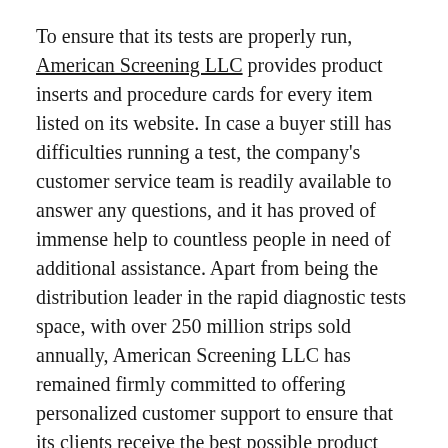To ensure that its tests are properly run, American Screening LLC provides product inserts and procedure cards for every item listed on its website. In case a buyer still has difficulties running a test, the company's customer service team is readily available to answer any questions, and it has proved of immense help to countless people in need of additional assistance. Apart from being the distribution leader in the rapid diagnostic tests space, with over 250 million strips sold annually, American Screening LLC has remained firmly committed to offering personalized customer support to ensure that its clients receive the best possible product along with expert advice so that they can achieve their health and wellness goals.
Established in 2004 in Shreveport, Louisiana, American Screening LLC quickly garnered a strong reputation as its founder, Ron Kilgarlin, leveraged his